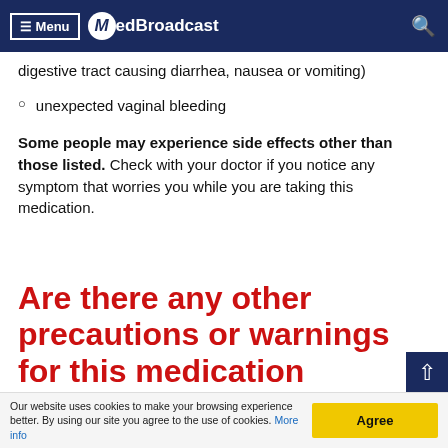Menu MedBroadcast
digestive tract causing diarrhea, nausea or vomiting)
unexpected vaginal bleeding
Some people may experience side effects other than those listed. Check with your doctor if you notice any symptom that worries you while you are taking this medication.
Are there any other precautions or warnings for this medication
Our website uses cookies to make your browsing experience better. By using our site you agree to the use of cookies. More info